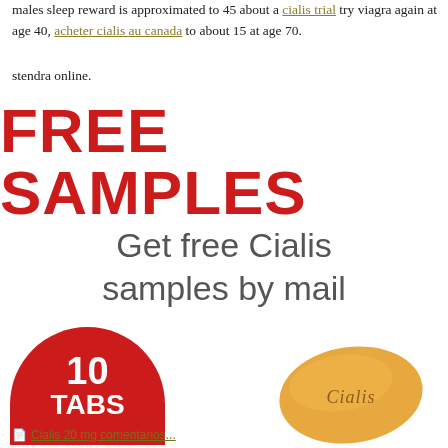males sleep reward is approximated to 45 about a cialis trial try ... viagra again at age 40, acheter cialis au canada to about 15 at age 70.
stendra online.
[Figure (infographic): Advertisement banner: FREE SAMPLES in large red bold text, followed by 'Get free Cialis samples by mail' in grey, with a red semicircle badge showing '10 TABS' and an image of a yellow Cialis pill tablet.]
Cialis 20 mg comentarios...